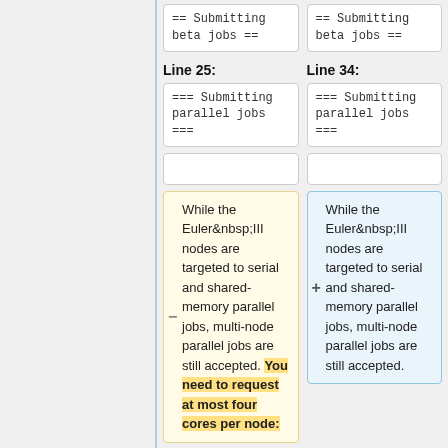== Submitting beta jobs ==
== Submitting beta jobs ==
Line 25:
Line 34:
=== Submitting parallel jobs ===
=== Submitting parallel jobs ===
While the Euler III nodes are targeted to serial and shared-memory parallel jobs, multi-node parallel jobs are still accepted. You need to request at most four cores per node:
While the Euler III nodes are targeted to serial and shared-memory parallel jobs, multi-node parallel jobs are still accepted.